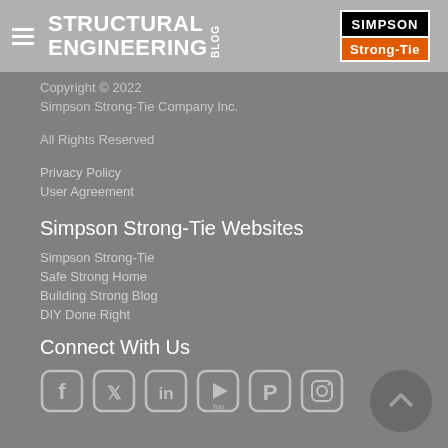STRUCTURAL ENGINEERING BLOG
[Figure (logo): Simpson Strong-Tie logo with black top bar and orange bottom bar]
Copyright © 2022
Simpson Strong-Tie Company Inc.
All Rights Reserved
Privacy Policy
User Agreement
Simpson Strong-Tie Websites
Simpson Strong-Tie
Safe Strong Home
Building Strong Blog
DIY Done Right
Connect With Us
[Figure (illustration): Social media icons: Facebook, Twitter, LinkedIn, YouTube, Pinterest, Instagram]